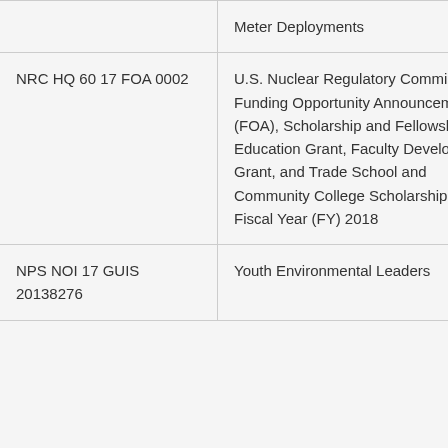| Opportunity Number | Title |
| --- | --- |
|  | Meter Deployments |
| NRC HQ 60 17 FOA 0002 | U.S. Nuclear Regulatory Commission Funding Opportunity Announcement (FOA), Scholarship and Fellowship Education Grant, Faculty Development Grant, and Trade School and Community College Scholarship Grant, Fiscal Year (FY) 2018 |
| NPS NOI 17 GUIS 20138276 | Youth Environmental Leaders |